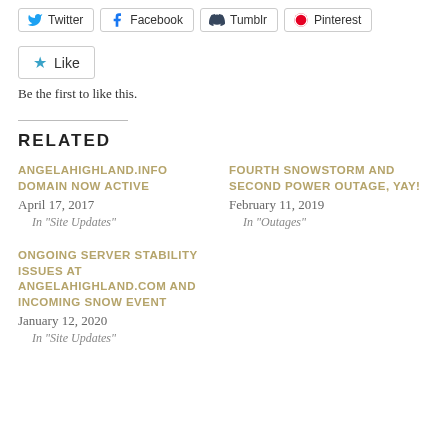[Figure (screenshot): Social share buttons for Twitter, Facebook, Tumblr, and Pinterest]
[Figure (screenshot): Like button with star icon]
Be the first to like this.
RELATED
ANGELAHIGHLAND.INFO DOMAIN NOW ACTIVE
April 17, 2017
In "Site Updates"
FOURTH SNOWSTORM AND SECOND POWER OUTAGE, YAY!
February 11, 2019
In "Outages"
ONGOING SERVER STABILITY ISSUES AT ANGELAHIGHLAND.COM AND INCOMING SNOW EVENT
January 12, 2020
In "Site Updates"